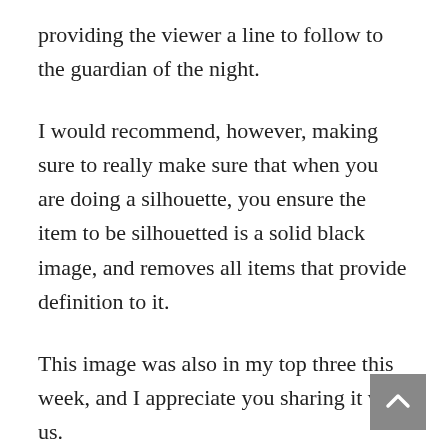providing the viewer a line to follow to the guardian of the night.
I would recommend, however, making sure to really make sure that when you are doing a silhouette, you ensure the item to be silhouetted is a solid black image, and removes all items that provide definition to it.
This image was also in my top three this week, and I appreciate you sharing it with us.